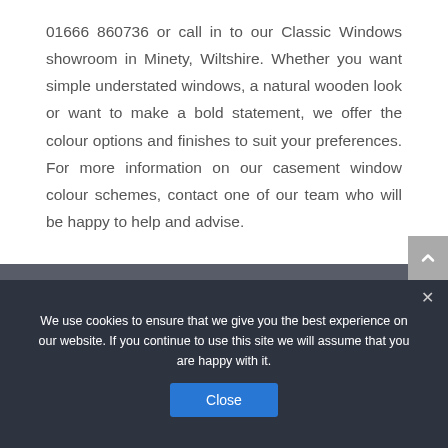01666 860736 or call in to our Classic Windows showroom in Minety, Wiltshire. Whether you want simple understated windows, a natural wooden look or want to make a bold statement, we offer the colour options and finishes to suit your preferences. For more information on our casement window colour schemes, contact one of our team who will be happy to help and advise.
We use cookies to ensure that we give you the best experience on our website. If you continue to use this site we will assume that you are happy with it.